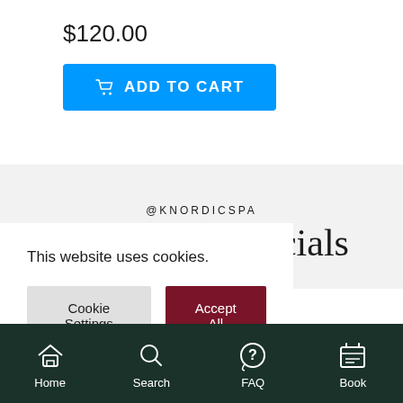$120.00
ADD TO CART
@KNORDICSPA
Find Us On Socials
This website uses cookies.
Cookie Settings
Accept All
Home  Search  FAQ  Book